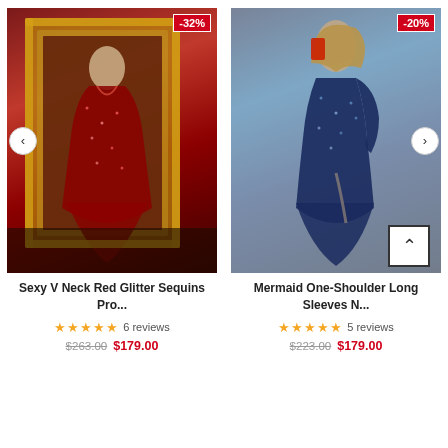[Figure (photo): Red glitter sequins prom dress on mannequin in front of ornate gold mirror. Discount badge showing -32%.]
Sexy V Neck Red Glitter Sequins Pro...
★★★★★ 6 reviews
$263.00  $179.00
[Figure (photo): Navy blue mermaid one-shoulder long sleeve prom dress on woman posing in mirror selfie. Discount badge showing -20%.]
Mermaid One-Shoulder Long Sleeves N...
★★★★★ 5 reviews
$223.00  $179.00